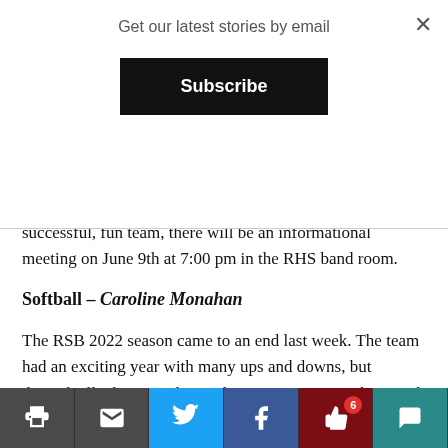Get our latest stories by email
Subscribe
successful, fun team, there will be an informational meeting on June 9th at 7:00 pm in the RHS band room.
Softball – Caroline Monahan
The RSB 2022 season came to an end last week. The team had an exciting year with many ups and downs, but through all adversity ultimately grew as a team. The squad, unfortunately, did not make their way into the playoffs but had a nice win at the end of the season against Harriton. Radnor Softball is losing their only senior and commonly-loved captain Kelsey Moore.